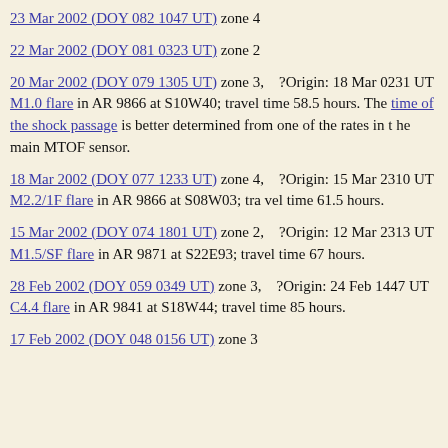23 Mar 2002 (DOY 082 1047 UT) zone 4
22 Mar 2002 (DOY 081 0323 UT) zone 2
20 Mar 2002 (DOY 079 1305 UT) zone 3, ?Origin: 18 Mar 0231 UT M1.0 flare in AR 9866 at S10W40; travel time 58.5 hours. The time of the shock passage is better determined from one of the rates in t he main MTOF sensor.
18 Mar 2002 (DOY 077 1233 UT) zone 4, ?Origin: 15 Mar 2310 UT M2.2/1F flare in AR 9866 at S08W03; tra vel time 61.5 hours.
15 Mar 2002 (DOY 074 1801 UT) zone 2, ?Origin: 12 Mar 2313 UT M1.5/SF flare in AR 9871 at S22E93; travel time 67 hours.
28 Feb 2002 (DOY 059 0349 UT) zone 3, ?Origin: 24 Feb 1447 UT C4.4 flare in AR 9841 at S18W44; travel time 85 hours.
17 Feb 2002 (DOY 048 0156 UT) zone 3